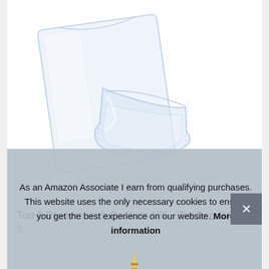[Figure (photo): Two transparent plastic card binder pockets/sleeves on a white background. One is upright and larger, the other is angled and in the foreground.]
Top 8 Binders with Pockets UK – Trading Card S...
As an Amazon Associate I earn from qualifying purchases. This website uses the only necessary cookies to ensure you get the best experience on our website. More information